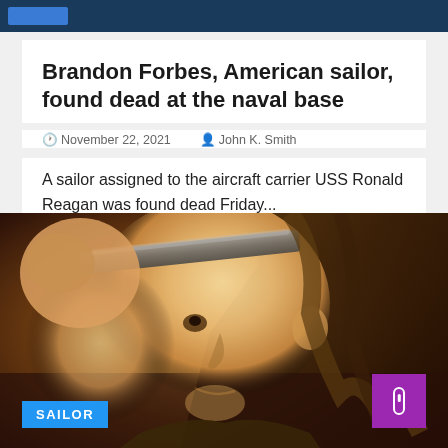Brandon Forbes, American sailor, found dead at the naval base
November 22, 2021   John K. Smith
A sailor assigned to the aircraft carrier USS Ronald Reagan was found dead Friday...
[Figure (photo): Illustrated portrait of a sailor in uniform saluting, with warm golden-brown tones. Category badge 'SAILOR' at bottom left. Purple scroll button at bottom right.]